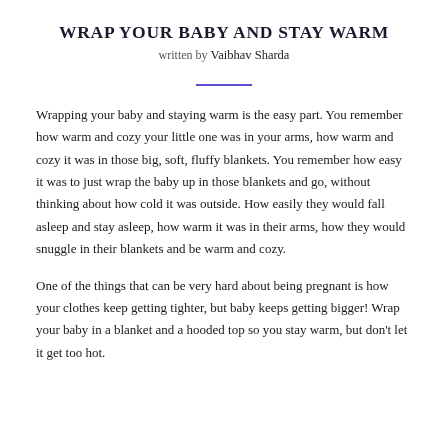WRAP YOUR BABY AND STAY WARM
written by Vaibhav Sharda
Wrapping your baby and staying warm is the easy part. You remember how warm and cozy your little one was in your arms, how warm and cozy it was in those big, soft, fluffy blankets. You remember how easy it was to just wrap the baby up in those blankets and go, without thinking about how cold it was outside. How easily they would fall asleep and stay asleep, how warm it was in their arms, how they would snuggle in their blankets and be warm and cozy.
One of the things that can be very hard about being pregnant is how your clothes keep getting tighter, but baby keeps getting bigger! Wrap your baby in a blanket and a hooded top so you stay warm, but don’t let it get too hot.